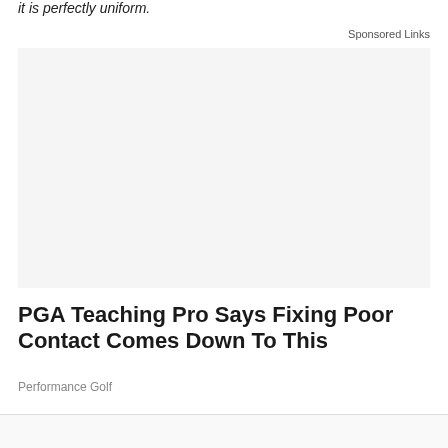it is perfectly uniform.
Sponsored Links
[Figure (other): Advertisement / sponsored content block (blank/white area)]
PGA Teaching Pro Says Fixing Poor Contact Comes Down To This
Performance Golf